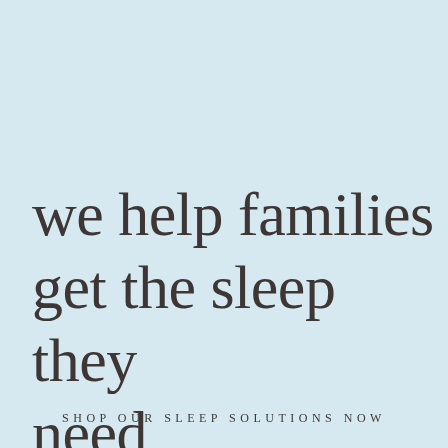we help families get the sleep they need
SHOP OUR SLEEP SOLUTIONS NOW